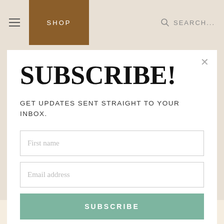SHOP   SEARCH...
SUBSCRIBE!
GET UPDATES SENT STRAIGHT TO YOUR INBOX.
First name
Email address
SUBSCRIBE
KELLY O'DELL STANLEY